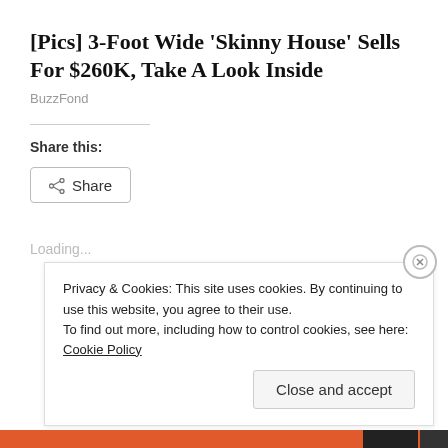[Pics] 3-Foot Wide 'Skinny House' Sells For $260K, Take A Look Inside
BuzzFond
Share this:
[Figure (other): Share button with share icon]
Loading...
Privacy & Cookies: This site uses cookies. By continuing to use this website, you agree to their use.
To find out more, including how to control cookies, see here: Cookie Policy
Close and accept